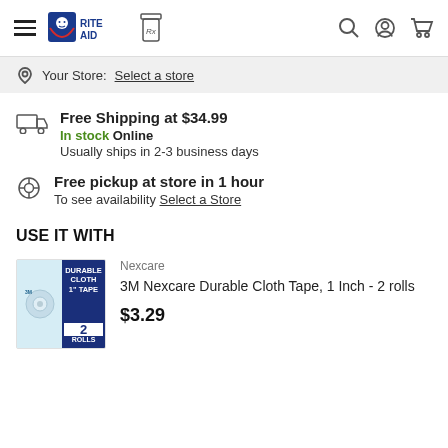Rite Aid — navigation header with hamburger menu, logo, Rx pharmacy icon, search, account, and cart icons
Your Store: Select a store
Free Shipping at $34.99
In stock Online
Usually ships in 2-3 business days
Free pickup at store in 1 hour
To see availability Select a Store
USE IT WITH
Nexcare
3M Nexcare Durable Cloth Tape, 1 Inch - 2 rolls
$3.29